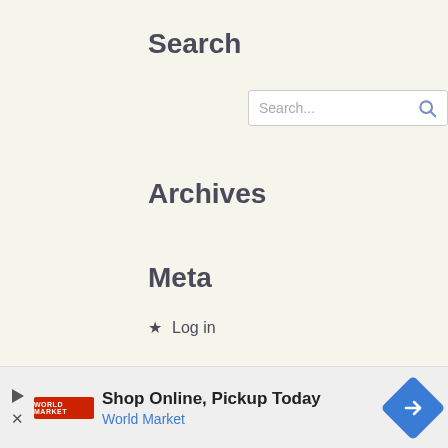Search
[Figure (screenshot): Search input box with placeholder text 'Search...' and a blue magnifying glass icon]
Archives
Meta
★  Log in
[Figure (screenshot): Advertisement banner with black left panel showing text 'We believe the global pollution crisis' in bold white text, and a right panel showing a person in a white hard hat outdoors]
[Figure (screenshot): Bottom ad bar: Shop Online, Pickup Today – World Market, with blue diamond arrow logo]